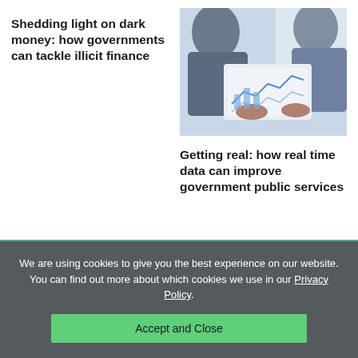[Figure (photo): Photo of people reviewing financial charts and documents on a tablet, top-right column]
Shedding light on dark money: how governments can tackle illicit finance
Getting real: how real time data can improve government public services
We are using cookies to give you the best experience on our website. You can find out more about which cookies we use in our Privacy Policy.
Accept and Close